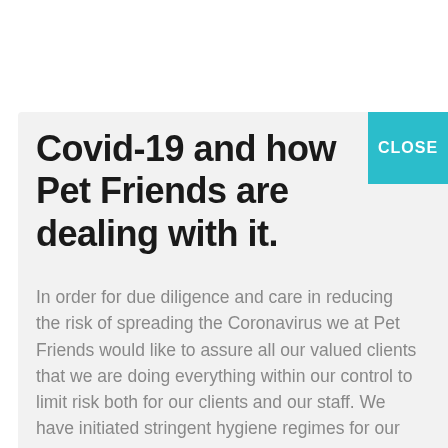Covid-19 and how Pet Friends are dealing with it.
In order for due diligence and care in reducing the risk of spreading the Coronavirus we at Pet Friends would like to assure all our valued clients that we are doing everything within our control to limit risk both for our clients and our staff. We have initiated stringent hygiene regimes for our staff to carry out prior to attending your home and again after leaving your home. This includes the use of hand sanitiser and Glen 20 on all surfaces touched.
Our staff must report of any signs of symptoms and will self-quarantine in this event. In return, we are asking all clients who have recently travelled from or